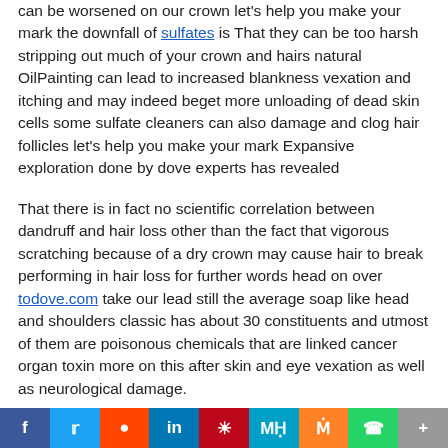can be worsened on our crown let's help you make your mark the downfall of sulfates is That they can be too harsh stripping out much of your crown and hairs natural OilPainting can lead to increased blankness vexation and itching and may indeed beget more unloading of dead skin cells some sulfate cleaners can also damage and clog hair follicles let's help you make your mark Expansive exploration done by dove experts has revealed
That there is in fact no scientific correlation between dandruff and hair loss other than the fact that vigorous scratching because of a dry crown may cause hair to break performing in hair loss for further words head on over todove.com take our lead still the average soap like head and shoulders classic has about 30 constituents and utmost of them are poisonous chemicals that are linked cancer organ toxin more on this after skin and eye vexation as well as neurological damage.
f  Twitter  Reddit  in  Pinterest  MW  Mix  WhatsApp  More